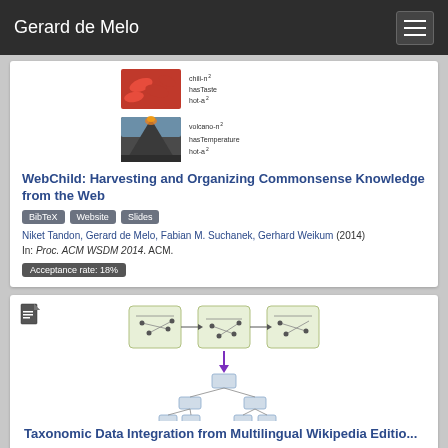Gerard de Melo
[Figure (illustration): Two stacked image thumbnails: top shows red chili peppers with text 'chili-n, hasTaste, hot-a'; bottom shows a volcano with text 'volcano-n, hasTemperature, hot-a']
WebChild: Harvesting and Organizing Commonsense Knowledge from the Web
BibTeX
Website
Slides
Niket Tandon, Gerard de Melo, Fabian M. Suchanek, Gerhard Weikum (2014)
In: Proc. ACM WSDM 2014. ACM.
Acceptance rate: 18%
[Figure (illustration): Diagram showing taxonomic data integration: top row has three boxes with graph-like content connected by arrows, a purple downward arrow, and a hierarchical tree structure below representing integrated taxonomy]
Taxonomic Data Integration from Multilingual Wikipedia Editio...